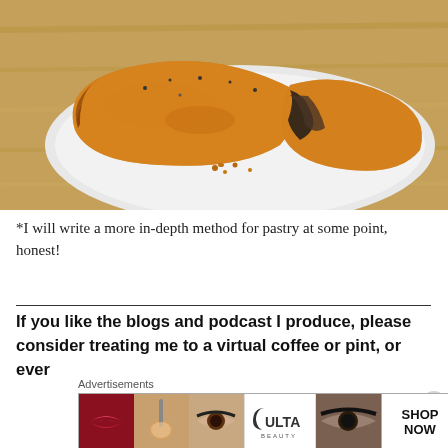[Figure (photo): A golden-brown baked pastry (calzone or pasty) broken open on a white plate, revealing a dark mushroom or vegetable filling inside, placed on a wooden surface.]
*I will write a more in-depth method for pastry at some point, honest!
If you like the blogs and podcast I produce, please consider treating me to a virtual coffee or pint, or ever
[Figure (illustration): Ulta Beauty advertisement banner showing cosmetic imagery — close-up lips with lipstick, a makeup brush, eyes with mascara, Ulta logo, and eyes close-up — with 'SHOP NOW' button.]